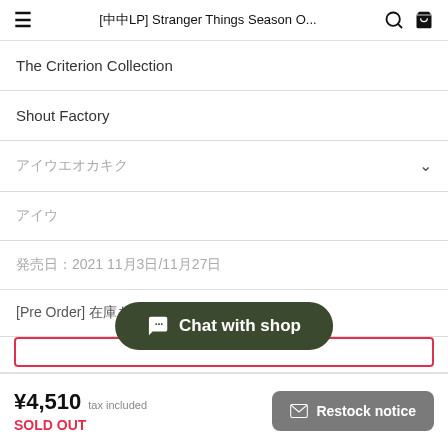[??LP] Stranger Things Season O...
The Criterion Collection
Shout Factory
????????
???
???????2021 11?3?/11?27?
[Pre Order] ????
Chat with shop
¥4,510 tax included
SOLD OUT
Restock notice